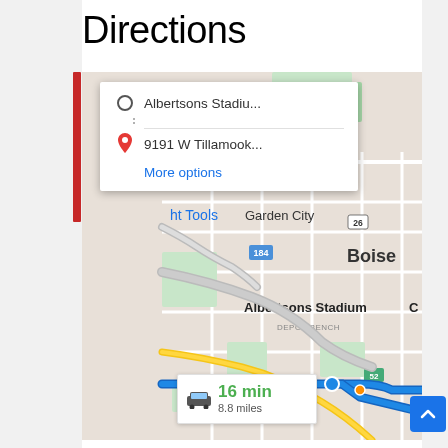Directions
[Figure (screenshot): Google Maps screenshot showing directions from Albertsons Stadium to 9191 W Tillamook, with a route overlay showing 16 min / 8.8 miles driving directions through Garden City and Boise area. A directions card popup is visible at the top showing origin 'Albertsons Stadiu...' and destination '9191 W Tillamook...' with a 'More options' link. A route summary box at the bottom shows a car icon, '16 min' in green, and '8.8 miles'.]